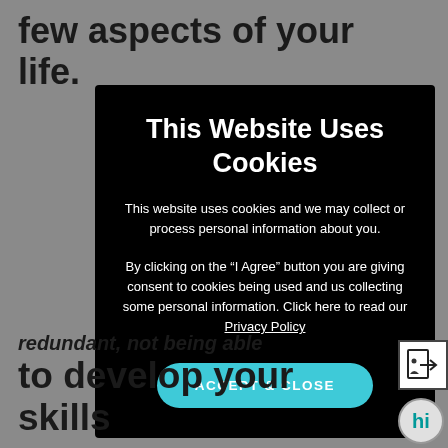few aspects of your life.
This Website Uses Cookies
This website uses cookies and we may collect or process personal information about you.
By clicking on the “I Agree” button you are giving consent to cookies being used and us collecting some personal information. Click here to read our Privacy Policy
ACCEPT & CLOSE
redundant, not being able to develop your skills